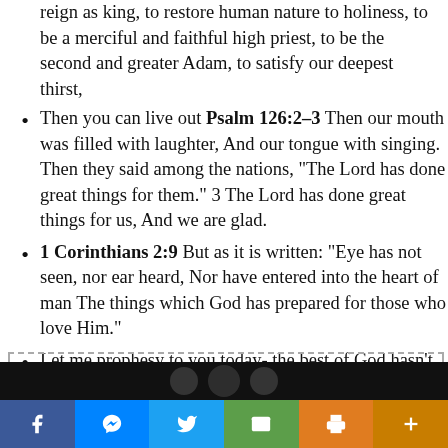reign as king, to restore human nature to holiness, to be a merciful and faithful high priest, to be the second and greater Adam, to satisfy our deepest thirst,
Then you can live out Psalm 126:2-3 Then our mouth was filled with laughter, And our tongue with singing. Then they said among the nations, “The Lord has done great things for them.” 3 The Lord has done great things for us, And we are glad.
1 Corinthians 2:9 But as it is written: “Eye has not seen, nor ear heard, Nor have entered into the heart of man The things which God has prepared for those who love Him.”
Let me prophesy to you today- the best of God hasn’t even happened in your life yet
[Figure (screenshot): Social media sharing bar with Facebook, Messenger, Twitter, Email, Print, and More buttons]